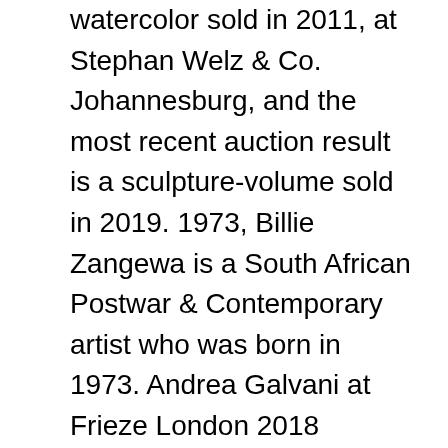watercolor sold in 2011, at Stephan Welz & Co. Johannesburg, and the most recent auction result is a sculpture-volume sold in 2019. 1973, Billie Zangewa is a South African Postwar & Contemporary artist who was born in 1973. Andrea Galvani at Frieze London 2018 Revolver Galería | Focus H17 Link. Born in 1973 in Blantyre, Malawi, Billie Zangewa lives and works in Johannesburg, South Africa. View Billie Zangewa's 2 artworks. Galleries and Exhibitions. Billie Zangewa was born to a South African mother and Malawian father. Billie Zangewa - 27 Artworks, Bio … ,Brussels, Belgium, how far how near Advisory Board LaCasaPark Art Residency Link. ,Rochechouart, France, Body Talks: Feminism, Sexuality and the Body in the